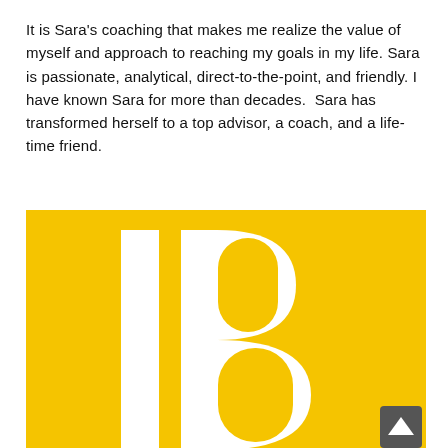It is Sara's coaching that makes me realize the value of myself and approach to reaching my goals in my life. Sara is passionate, analytical, direct-to-the-point, and friendly. I have known Sara for more than decades.  Sara has transformed herself to a top advisor, a coach, and a life-time friend.
[Figure (logo): Yellow square background with large white letters 'IB' displayed prominently in bold sans-serif font. A dark scroll-to-top button with an upward caret appears in the bottom-right corner.]